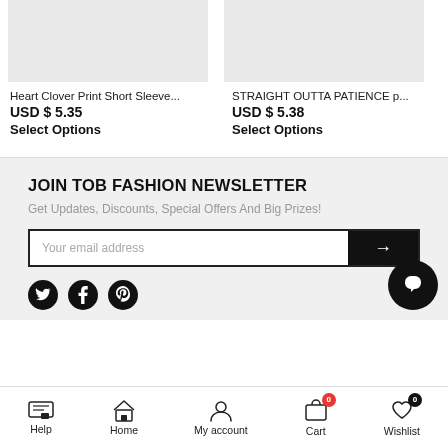[Figure (photo): Product image placeholder - light gray rectangle for Heart Clover Print Short Sleeve shirt]
Heart Clover Print Short Sleeve...
USD $ 5.35
Select Options
[Figure (photo): Product image placeholder - light gray rectangle for STRAIGHT OUTTA PATIENCE print]
STRAIGHT OUTTA PATIENCE p...
USD $ 5.38
Select Options
JOIN TOB FASHION NEWSLETTER
Get Updates, Discounts, Special Offers And Big Prizes!
Your email address
Help  Home  My account  Cart  Wishlist